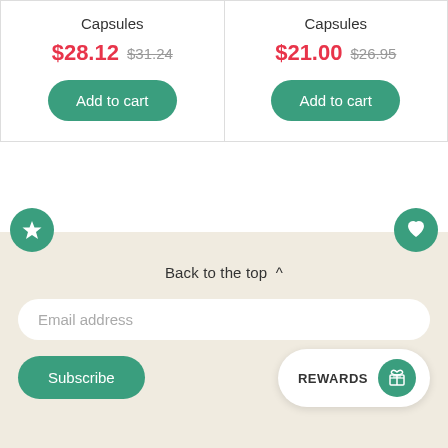Capsules
$28.12  $31.24
Add to cart
Capsules
$21.00  $26.95
Add to cart
Back to the top ^
Email address
Subscribe
REWARDS